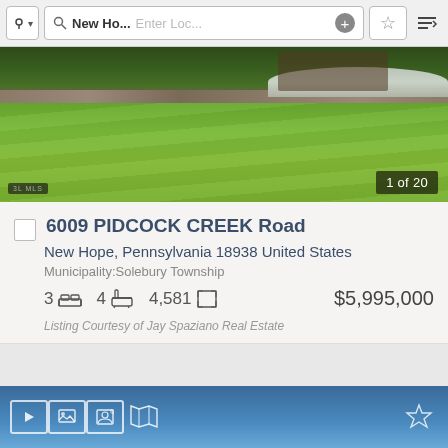[Figure (screenshot): App toolbar with location icon, search box showing 'New Ho...' and 'Enter Loc...', plus button, star/favorites button, and sort icon]
[Figure (photo): Exterior photo of property showing manicured lawn with cut grass patterns, stone wall border, trees and shrubs in background, house visible at top. Badge shows '1 of 20'.]
6009 PIDCOCK CREEK Road
New Hope, Pennsylvania 18938 United States
Municipality:Solebury Township
3 [bed icon] 4 [bath icon] 4,581 [sqft icon] $5,995,000
Listing Courtesy of Jay Spaziano Real Estate
[Figure (screenshot): Bottom navigation bar with play, photo gallery, contact, map icons and star favorite icon on blue sky background]